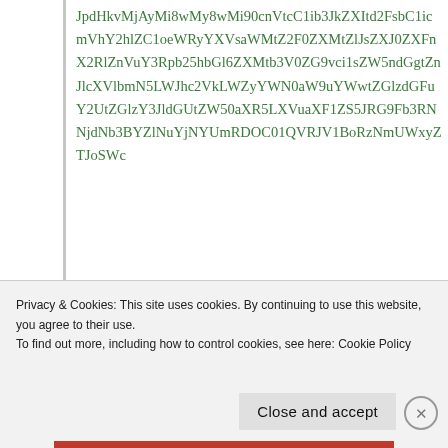JpdHkvMjAyMi8wMy8wMi90cnVtcC1ib3JkZXItd2FsbC1icmVhY2hlZC1oeWRyYXVsaWMtZ2F0ZXMtZlJsZXJ0ZXFnX2RlZnVuY3Rpb25hbGl6ZXMtb3V0ZG9vci1sZW5ndGgtZnJlcXVlbmN5LWJhc2VkLWZyYWN0aW9uYWwtZGlzdGFuY2UtZGlzY3JldGUtZW50aXR5LXVuaXF1ZS5JRG9Fb3RNNjdNb3BYZlNuYjNYUmRDOC01QVRJV1BoRzNmUWxyZTJoSWc
So much for Trump’s idiotic wall.
↳ Reply
Privacy & Cookies: This site uses cookies. By continuing to use this website, you agree to their use.
To find out more, including how to control cookies, see here: Cookie Policy
Close and accept